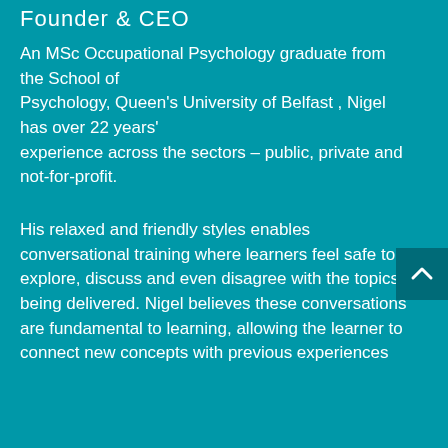Founder & CEO
An MSc Occupational Psychology graduate from the School of Psychology, Queen's University of Belfast , Nigel has over 22 years' experience across the sectors – public, private and not-for-profit.
His relaxed and friendly styles enables conversational training where learners feel safe to explore, discuss and even disagree with the topics being delivered. Nigel believes these conversations are fundamental to learning, allowing the learner to connect new concepts with previous experiences